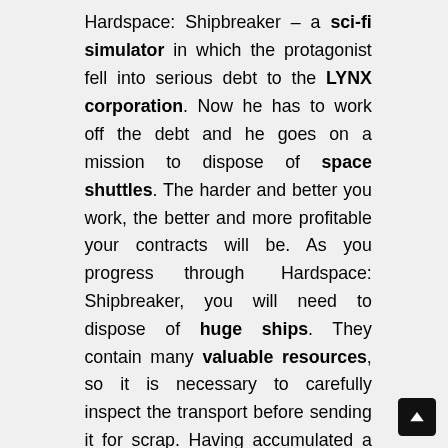Hardspace: Shipbreaker – a sci-fi simulator in which the protagonist fell into serious debt to the LYNX corporation. Now he has to work off the debt and he goes on a mission to dispose of space shuttles. The harder and better you work, the better and more profitable your contracts will be. As you progress through Hardspace: Shipbreaker, you will need to dispose of huge ships. They contain many valuable resources, so it is necessary to carefully inspect the transport before sending it for scrap. Having accumulated a sufficient amount of funds, you need to settle with the company. The protagonist uses the most modern and technological